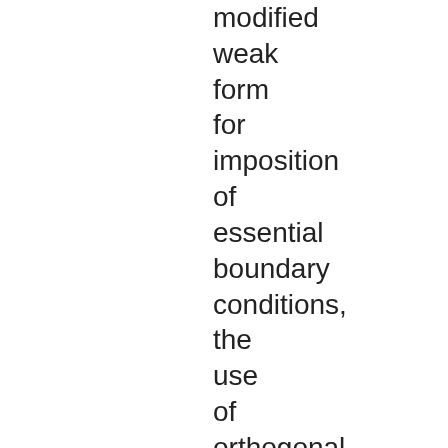modified weak form for imposition of essential boundary conditions, the use of orthogonal basis functions to obtain shape functions and error control